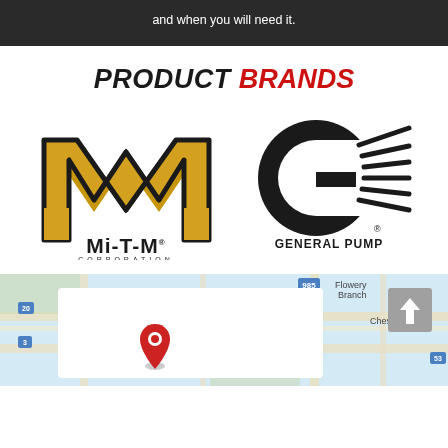and when you will need it.
PRODUCT BRANDS
[Figure (logo): Mi-T-M Corporation logo — gold M-shaped emblem above 'Mi-T-M' in bold black letters with 'CORPORATION' below in small caps]
[Figure (logo): General Pump logo — black circular G with speed lines forming a stylized GP mark, 'GENERAL PUMP' text below with registered trademark symbol]
[Figure (map): Google Maps screenshot showing Flowery Branch area with a red location pin marker and a white info card overlay]